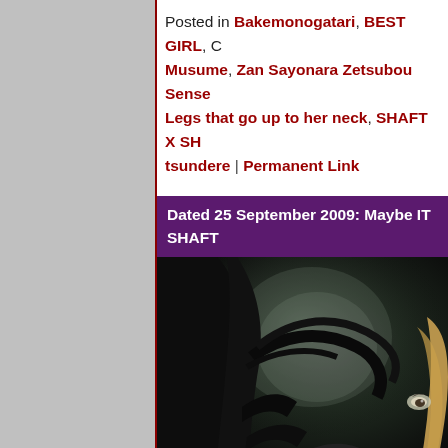Posted in Bakemonogatari, BEST GIRL, C... Musume, Zan Sayonara Zetsubou Sense... Legs that go up to her neck, SHAFT X SH... tsundere | Permanent Link
Dated 25 September 2009: Maybe IT... SHAFT
[Figure (illustration): Anime screenshot showing a dark-haired character with sharp eyes and light-colored hair visible, set against a dark shadowy background. Character appears to be from Zan Sayonara Zetsubou Sensei or similar SHAFT anime.]